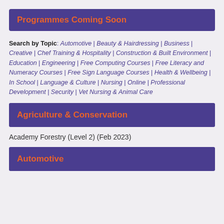Programmes Coming Soon
Search by Topic: Automotive | Beauty & Hairdressing | Business | Creative | Chef Training & Hospitality | Construction & Built Environment | Education | Engineering | Free Computing Courses | Free Literacy and Numeracy Courses | Free Sign Language Courses | Health & Wellbeing | In School | Language & Culture | Nursing | Online | Professional Development | Security | Vet Nursing & Animal Care
Agriculture & Conservation
Academy Forestry (Level 2) (Feb 2023)
Automotive